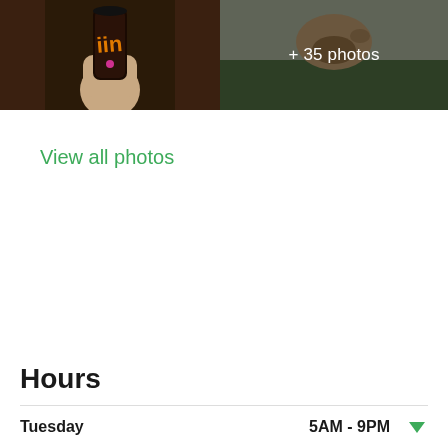[Figure (photo): Two photos side by side: left shows a hand holding a dark beverage can with orange text, right shows another item with overlay text '+ 35 photos']
View all photos
Hours
Tuesday    5AM - 9PM